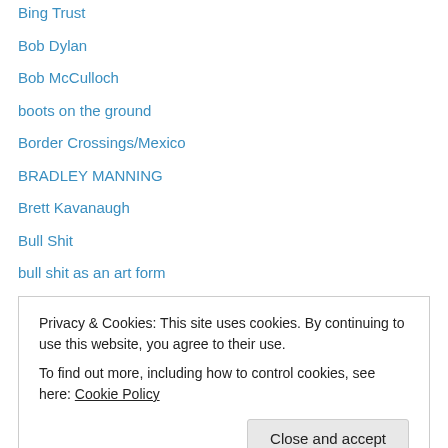Bing Trust
Bob Dylan
Bob McCulloch
boots on the ground
Border Crossings/Mexico
BRADLEY MANNING
Brett Kavanaugh
Bull Shit
bull shit as an art form
Burkini
BUSH ART
Bush's Art
California
CALIFORNIA DROUGHT
Privacy & Cookies: This site uses cookies. By continuing to use this website, you agree to their use.
To find out more, including how to control cookies, see here: Cookie Policy
CA Manning
Carlo Flores